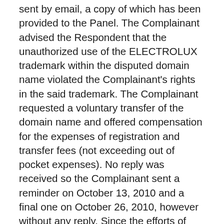sent by email, a copy of which has been provided to the Panel. The Complainant advised the Respondent that the unauthorized use of the ELECTROLUX trademark within the disputed domain name violated the Complainant's rights in the said trademark. The Complainant requested a voluntary transfer of the domain name and offered compensation for the expenses of registration and transfer fees (not exceeding out of pocket expenses). No reply was received so the Complainant sent a reminder on October 13, 2010 and a final one on October 26, 2010, however without any reply. Since the efforts of trying to resolve the matter amicably were unsuccessful, the Complainant chose to file a complaint according to the UDRP process. It has been mentioned in earlier disputes that the failure of a respondent to respond to a 'cease and desist' letter, or a similar attempt at contact, has been considered relevant in a finding of bad faith: News Group Newspapers Limited and News Network Limited v. Momm Amed Ia, WIPO Case No. D2000-1623; Nike, Inc. v. Azumano Travel, WIPO Case No. D2000-1598; and America Online, Inc. v. Antonio R. Diaz, WIPO Case No. D2000-1460.